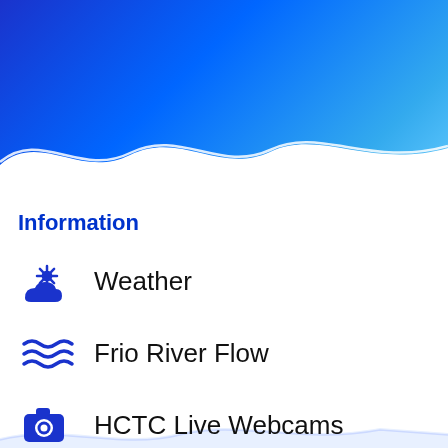[Figure (illustration): Blue gradient header with wave water illustration at the top of the page]
Information
Weather
Frio River Flow
HCTC Live Webcams